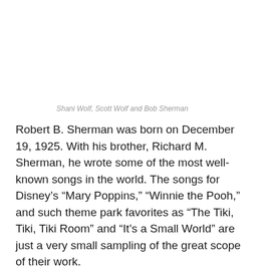Shani Wolf, Scott Wolf and Bob Sherman
Robert B. Sherman was born on December 19, 1925. With his brother, Richard M. Sherman, he wrote some of the most well-known songs in the world. The songs for Disney’s “Mary Poppins,” “Winnie the Pooh,” and such theme park favorites as “The Tiki, Tiki, Tiki Room” and “It’s a Small World” are just a very small sampling of the great scope of their work.
Today, I remember Bob, on what would have been his 90th birthday.
I remember the first time I went to Bob’s house. I rang his doorbell, which played the first few notes of “It’s a Small